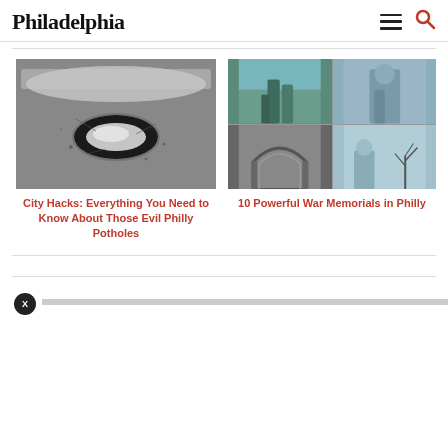Philadelphia
[Figure (photo): Close-up photograph of a pothole in asphalt pavement filled with water]
City Hacks: Everything You Need to Know About Those Evil Philly Potholes
[Figure (photo): 2x2 grid of photos showing war memorial statues and architecture in Philadelphia]
10 Powerful War Memorials in Philly